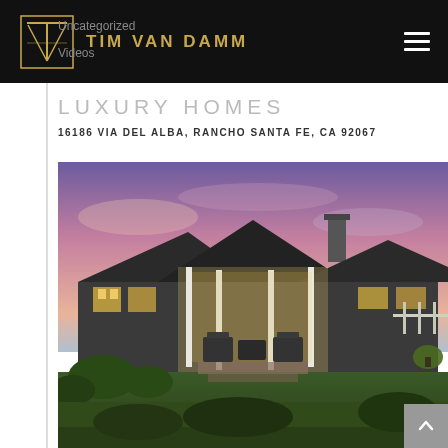TIM VAN DAMM
Uncategorized
Videos
LUXURY HOMES
16186 VIA DEL ALBA, RANCHO SANTA FE, CA 92067
[Figure (photo): Exterior twilight photo of a large luxury ranch-style home in Rancho Santa Fe, CA. The covered patio is warmly lit, showing outdoor seating, white columns, green lawn, and a purple-pink dusk sky.]